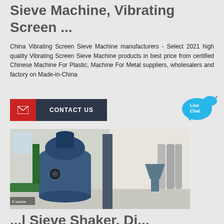Sieve Machine, Vibrating Screen ...
China Vibrating Screen Sieve Machine manufacturers - Select 2021 high quality Vibrating Screen Sieve Machine products in best price from certified Chinese Machine For Plastic, Machine For Metal suppliers, wholesalers and factory on Made-in-China
[Figure (other): Contact Us button with red envelope icon on red background and dark navy label]
[Figure (other): Live Chat speech bubble button in blue]
[Figure (photo): Industrial sieve/vibrating screen machine in a factory setting, large blue cylindrical grinding mill with green conveyor equipment]
...l Sieve Shaker, Di...